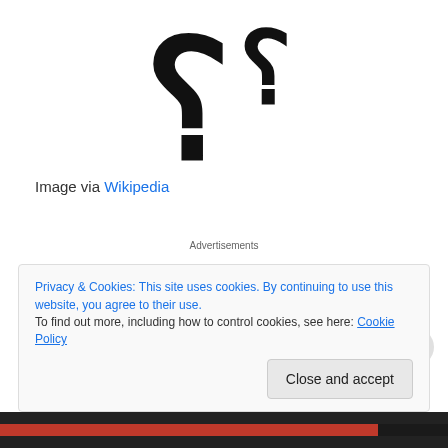[Figure (illustration): Two stylized question mark characters rendered in large bold black font, resembling Arabic or decorative punctuation symbols, on a white background.]
Image via Wikipedia
Advertisements
I don't want to follow a curriculum map.
I want to explore with my students as they discover the themes and ideas that make their life what it is and try to
Privacy & Cookies: This site uses cookies. By continuing to use this website, you agree to their use.
To find out more, including how to control cookies, see here: Cookie Policy
Close and accept